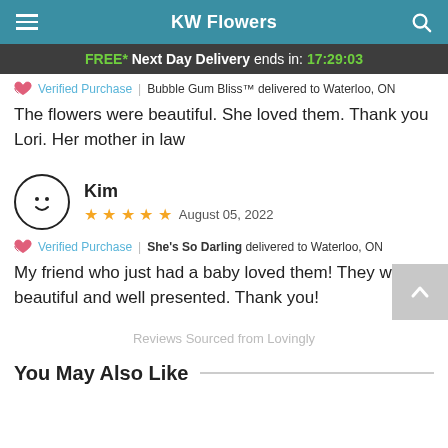KW Flowers
FREE* Next Day Delivery ends in: 17:29:03
Verified Purchase | Bubble Gum Bliss™ delivered to Waterloo, ON
The flowers were beautiful. She loved them. Thank you Lori. Her mother in law
Kim
★★★★★  August 05, 2022
Verified Purchase | She's So Darling delivered to Waterloo, ON
My friend who just had a baby loved them! They were beautiful and well presented. Thank you!
Reviews Sourced from Lovingly
You May Also Like